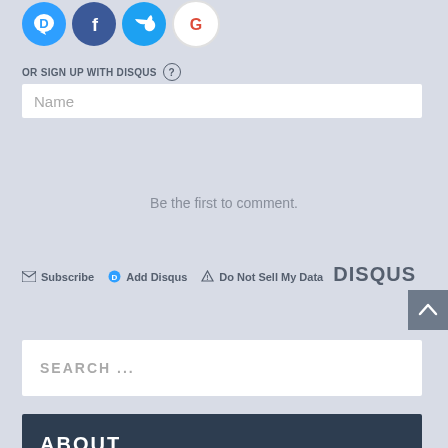[Figure (logo): Row of social login icons: Disqus (blue speech bubble with D), Facebook (dark blue circle with f), Twitter (light blue circle with bird), Google (white circle with G)]
OR SIGN UP WITH DISQUS ?
Name
Be the first to comment.
Subscribe  Add Disqus  Do Not Sell My Data   DISQUS
SEARCH ...
ABOUT